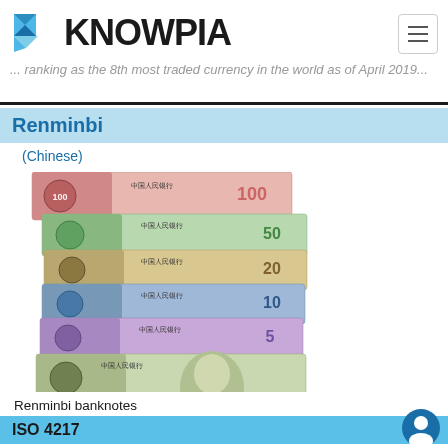KNOWPIA — ranking as the 8th most traded currency in the world as of April 2019
Renminbi
(Chinese)
[Figure (photo): Stack of Chinese Renminbi banknotes showing denominations 100, 50, 20, 10, 5, and 1 yuan]
Renminbi banknotes
ISO 4217
|  |  |
| --- | --- |
| Code | CNY |
| Number | 156 |